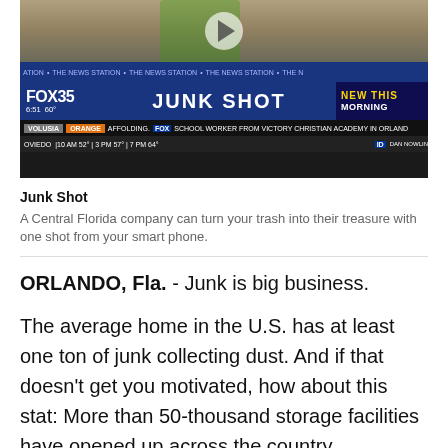[Figure (screenshot): Fox 35 news broadcast screenshot showing 'JUNK SHOT' chyron, time 6:51 60°, news ticker, 'NEW THIS MORNING' banner, lower thirds with VOLUSIA, ORANGE, OVIEDO locations and weather forecast]
Junk Shot
A Central Florida company can turn your trash into their treasure with one shot from your smart phone.
ORLANDO, Fla. - Junk is big business.
The average home in the U.S. has at least one ton of junk collecting dust.  And if that doesn't get you motivated, how about this stat:  More than 50-thousand storage facilities have opened up across the country, outpacing Starbucks stores 5-to-1!
Enter 'Junk Shot,' a Central Florida company who turns your trash into their treasure with one shot from your